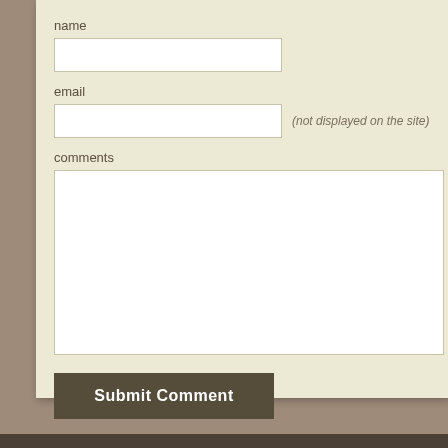name
email
(not displayed on the site)
comments
Submit Comment